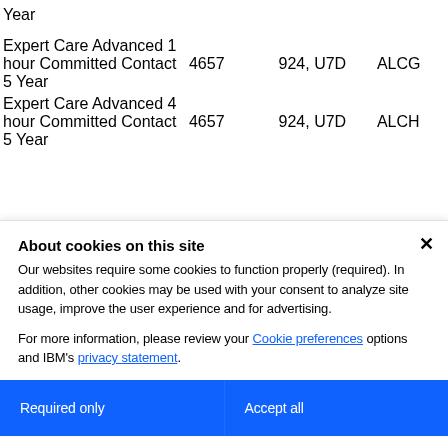| Year |  |  |  |
| Expert Care Advanced 1 hour Committed Contact 5 Year | 4657 | 924, U7D | ALCG |
| Expert Care Advanced 4 hour Committed Contact 5 Year | 4657 | 924, U7D | ALCH |
About cookies on this site
Our websites require some cookies to function properly (required). In addition, other cookies may be used with your consent to analyze site usage, improve the user experience and for advertising.
For more information, please review your Cookie preferences options and IBM's privacy statement.
Required only
Accept all